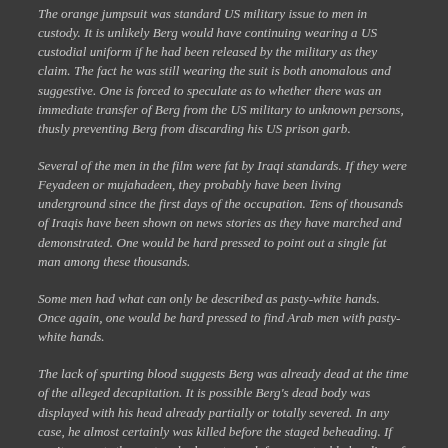The orange jumpsuit was standard US military issue to men in custody. It is unlikely Berg would have continuing wearing a US custodial uniform if he had been released by the military as they claim. The fact he was still wearing the suit is both anomalous and suggestive. One is forced to speculate as to whether there was an immediate transfer of Berg from the US military to unknown persons, thusly preventing Berg from discarding his US prison garb.
Several of the men in the film were fat by Iraqi standards. If they were Feyadeen or mujahadeen, they probably have been living underground since the first days of the occupation. Tens of thousands of Iraqis have been shown on news stories as they have marched and demonstrated. One would be hard pressed to point out a single fat man among these thousands.
Some men had what can only be described as pasty-white hands. Once again, one would be hard pressed to find Arab men with pasty-white hands.
The lack of spurting blood suggests Berg was already dead at the time of the alleged decapitation. It is possible Berg's dead body was displayed with his head already partially or totally severed. In any case, he almost certainly was killed before the staged beheading. If so, it suggests the captors had no stomach for an actual beheading of a living person, and they opted to fulfill their assignment quietly and with the least amount of gore.
The scream that is heard has been interpreted as a woman's scream by many viewers. Videotape cognoscenti have further